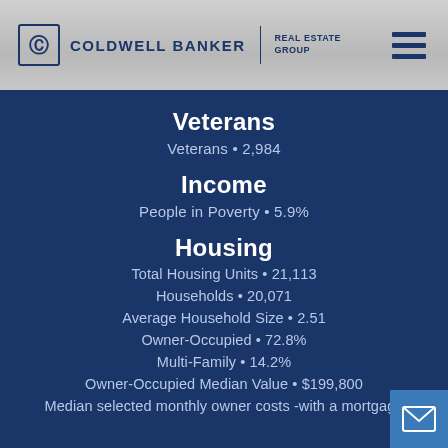COLDWELL BANKER REAL ESTATE GROUP
Veterans
Veterans • 2,984
Income
People in Poverty • 5.9%
Housing
Total Housing Units • 21,113
Households • 20,071
Average Household Size • 2.51
Owner-Occupied • 72.8%
Multi-Family • 14.2%
Owner-Occupied Median Value • $199,800
Median selected monthly owner costs -with a mortgage